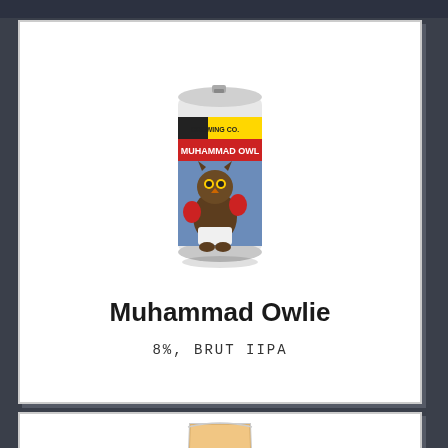[Figure (photo): Beer can with cartoon owl boxer illustration, labeled 'Muhammad Owlie', brewed by a brewing company. The can shows an owl wearing boxing gloves in a fighting stance.]
Muhammad Owlie
8%, BRUT IIPA
[Figure (photo): Partial view of a beer glass with amber/golden liquid, cut off at bottom of page.]